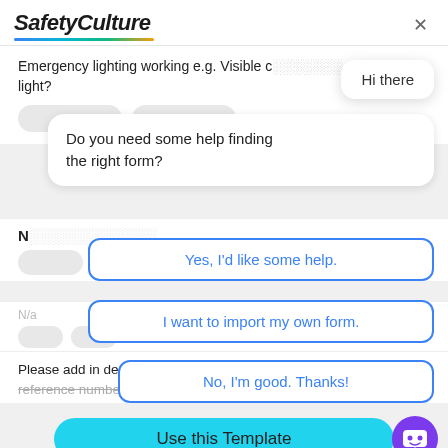[Figure (screenshot): SafetyCulture logo with italic bold text and multicolor underline gradient]
Emergency lighting working e.g. Visible c... light?
Hi there
Do you need some help finding the right form?
N
Yes, I'd like some help.
I want to import my own form.
Please add in desk numbers, description and fault reference numbers (when known)
No, I'm good. Thanks!
Use this Template